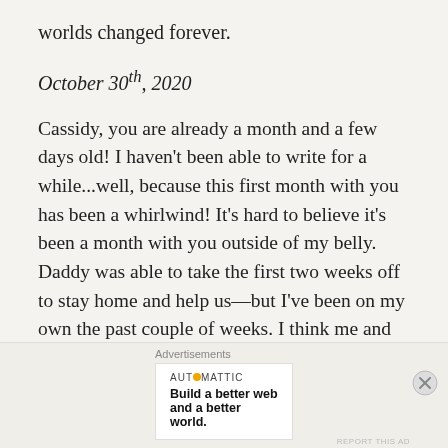worlds changed forever.
October 30th, 2020
Cassidy, you are already a month and a few days old! I haven't been able to write for a while...well, because this first month with you has been a whirlwind! It's hard to believe it's been a month with you outside of my belly. Daddy was able to take the first two weeks off to stay home and help us—but I've been on my own the past couple of weeks. I think me and you are finally getting into some kind of a routine. Breastfeeding and pumping
Advertisements
AUT⊙MATTIC
Build a better web and a better world.